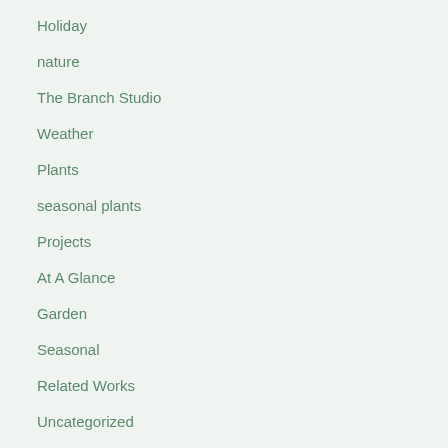Holiday
nature
The Branch Studio
Weather
Plants
seasonal plants
Projects
At A Glance
Garden
Seasonal
Related Works
Uncategorized